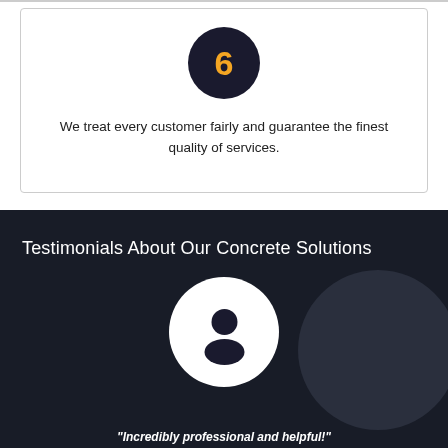[Figure (illustration): Dark circle with number 6 in orange/gold color inside a white card with border]
We treat every customer fairly and guarantee the finest quality of services.
Testimonials About Our Concrete Solutions
[Figure (illustration): White circle with generic user/person silhouette icon in dark color, on dark background with decorative arc]
"Incredibly professional and helpful!"